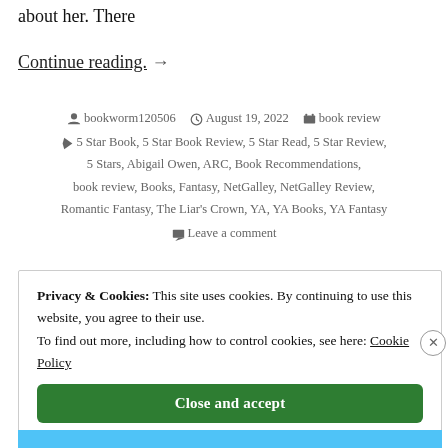about her. There
Continue reading. →
bookworm120506   August 19, 2022   book review
5 Star Book, 5 Star Book Review, 5 Star Read, 5 Star Review, 5 Stars, Abigail Owen, ARC, Book Recommendations, book review, Books, Fantasy, NetGalley, NetGalley Review, Romantic Fantasy, The Liar's Crown, YA, YA Books, YA Fantasy
Leave a comment
Privacy & Cookies: This site uses cookies. By continuing to use this website, you agree to their use. To find out more, including how to control cookies, see here: Cookie Policy
Close and accept